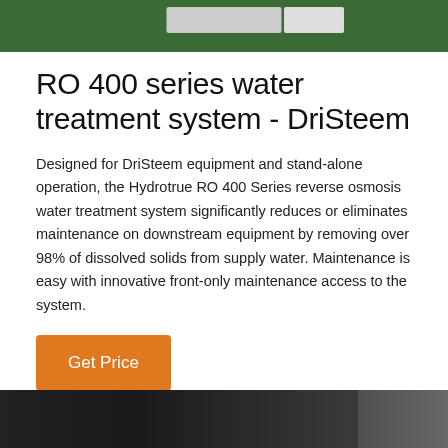[Figure (photo): Top portion of a green-colored industrial water treatment system or equipment panel, cropped at the top edge of the visible area.]
RO 400 series water treatment system - DriSteem
Designed for DriSteem equipment and stand-alone operation, the Hydrotrue RO 400 Series reverse osmosis water treatment system significantly reduces or eliminates maintenance on downstream equipment by removing over 98% of dissolved solids from supply water. Maintenance is easy with innovative front-only maintenance access to the system.
[Figure (photo): Bottom portion showing dark industrial equipment, partially visible at the bottom of the page.]